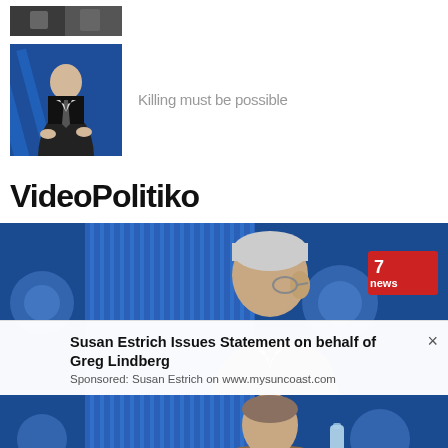[Figure (photo): Small thumbnail image at top showing a dark/outdoor scene]
[Figure (photo): Thumbnail of a man in a suit on a blue TV studio background]
Killing must be possible
VideoPolitiko
[Figure (photo): Large video thumbnail of an elderly man with glasses in a blue TV news studio set, 7News logo visible]
Susan Estrich Issues Statement on behalf of Greg Lindberg
Sponsored: Susan Estrich on www.mysuncoast.com
[Figure (photo): Bottom video thumbnail showing a man in a brown jacket in a blue TV studio set]